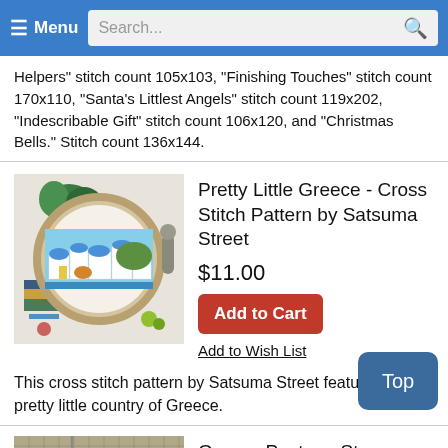≡ Menu  Search...
Helpers" stitch count 105x103, "Finishing Touches" stitch count 170x110, "Santa's Littlest Angels" stitch count 119x202, "Indescribable Gift" stitch count 106x120, and "Christmas Bells." Stitch count 136x144.
[Figure (photo): Cross stitch embroidery hoop showing colorful Greek village scene with white buildings, blue domes, greenery, displayed with books and craft supplies]
Pretty Little Greece - Cross Stitch Pattern by Satsuma Street
$11.00
Add to Cart
Add to Wish List
This cross stitch pattern by Satsuma Street features the pretty little country of Greece.
[Figure (photo): Partial view of Greece Postage Stamp cross stitch pattern product image]
Greece Postage Stamp - Cross Stitch Patt...